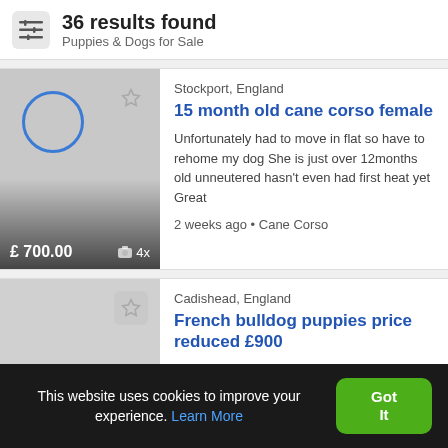36 results found — Puppies & Dogs for Sale
Stockport, England
15 month old cane corso female
Unfortunately had to move in flat so have to rehome my dog She is just over 12months old unneutered hasn't even had first heat yet Great
2 weeks ago • Cane Corso
£ 700.00  📷 4x
Cadishead, England
French bulldog puppies price reduced £900
This website uses cookies to improve your experience. Learn More
Got It